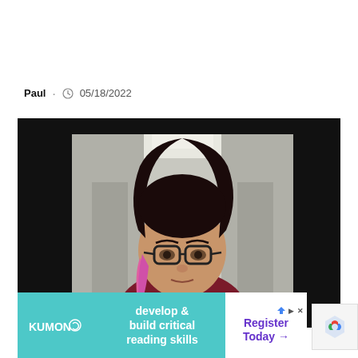Paul · 05/18/2022
[Figure (photo): A young woman with long dark hair with pink highlights, wearing glasses and a dark burgundy top, photographed in what appears to be a hallway. News broadcast screenshot with chyron overlay reading 'MISSING IN SASKATCHEWAN | MISSING PERSONS'.]
[Figure (infographic): Kumon advertisement banner with teal background reading 'develop & build critical reading skills' with 'Register Today →' button on the right.]